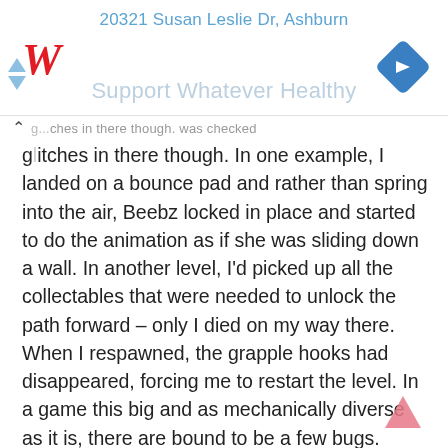20321 Susan Leslie Dr, Ashburn
[Figure (logo): Walgreens stylized red italic W logo]
[Figure (other): Blue diamond navigation arrow icon (turn right)]
Support Whatever Healthy
glitches in there though. In one example, I landed on a bounce pad and rather than spring into the air, Beebz locked in place and started to do the animation as if she was sliding down a wall. In another level, I'd picked up all the collectables that were needed to unlock the path forward – only I died on my way there. When I respawned, the grapple hooks had disappeared, forcing me to restart the level. In a game this big and as mechanically diverse as it is, there are bound to be a few bugs. Thankfully none of these are game breaking and they can hopefully be ironed out with a patch.